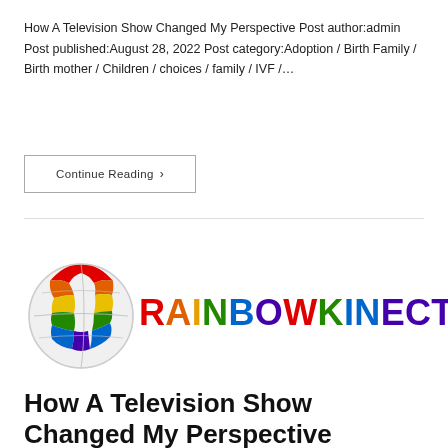How A Television Show Changed My Perspective Post author:admin Post published:August 28, 2022 Post category:Adoption / Birth Family / Birth mother / Children / choices / family / IVF /…
Continue Reading ›
[Figure (logo): RainbowKinect logo with a colorful globe on the left and the text RAINBOWKINECT in rainbow colors with a registered trademark symbol]
How A Television Show Changed My Perspective